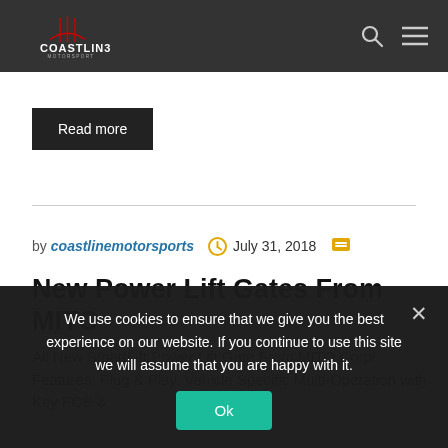COASTLINE MOTORSPORT
Read more
by coastlinemotorsports  July 31, 2018
New Power Lift Gates From MITO
All New SmartLift Power Lift Gate From MITO Corp! Features: Plug & Play, Vehicle Specific Multi-Operation with Key FOB &
We use cookies to ensure that we give you the best experience on our website. If you continue to use this site we will assume that you are happy with it.
Ok